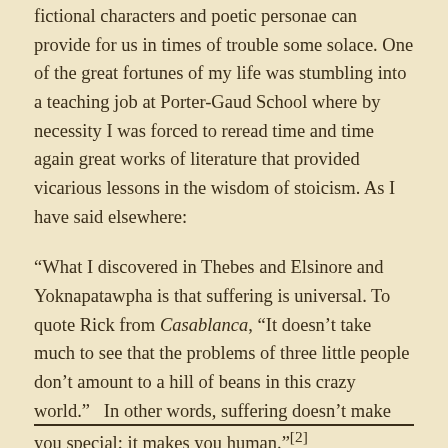fictional characters and poetic personae can provide for us in times of trouble some solace. One of the great fortunes of my life was stumbling into a teaching job at Porter-Gaud School where by necessity I was forced to reread time and time again great works of literature that provided vicarious lessons in the wisdom of stoicism. As I have said elsewhere:
“What I discovered in Thebes and Elsinore and Yoknapatawpha is that suffering is universal. To quote Rick from Casablanca, “It doesn’t take much to see that the problems of three little people don’t amount to a hill of beans in this crazy world.”   In other words, suffering doesn’t make you special; it makes you human.”[2]